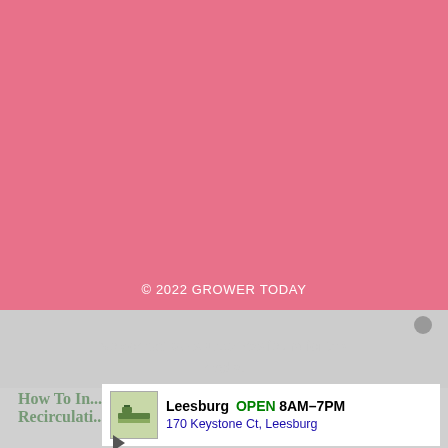advertising program designed to provide a means for sites to earn advertising fees by advertising and linking to amazon.com. Amazon, the Amazon logo, AmazonSupply, and the AmazonSupply logo are trademarks of Amazon.com, Inc. or its affiliates.
Advertise With US
Privacy Policy
© 2022 GROWER TODAY
[Figure (screenshot): Video player overlay showing 'No compatible source was found for this media.' error message, with a partially visible article preview beneath titled 'How To... Recirculating Deep Water Culture System' and an advertisement overlay for Leesburg store (OPEN 8AM-7PM, 170 Keystone Ct, Leesburg)]